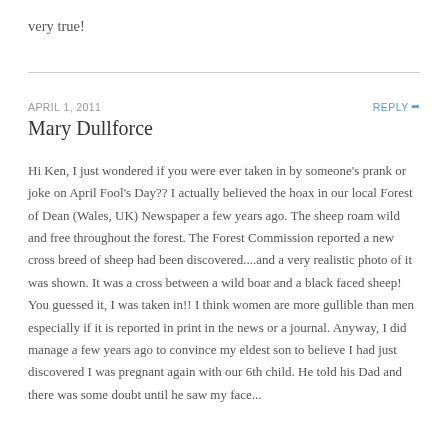very true!
APRIL 1, 2011
REPLY
Mary Dullforce
Hi Ken, I just wondered if you were ever taken in by someone's prank or joke on April Fool's Day?? I actually believed the hoax in our local Forest of Dean (Wales, UK) Newspaper a few years ago. The sheep roam wild and free throughout the forest. The Forest Commission reported a new cross breed of sheep had been discovered....and a very realistic photo of it was shown. It was a cross between a wild boar and a black faced sheep! You guessed it, I was taken in!! I think women are more gullible than men especially if it is reported in print in the news or a journal. Anyway, I did manage a few years ago to convince my eldest son to believe I had just discovered I was pregnant again with our 6th child. He told his Dad and there was some doubt until he saw my face...